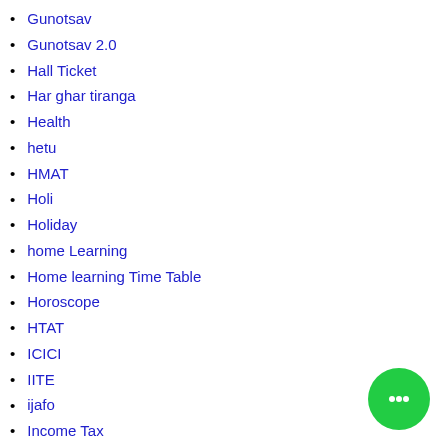Gunotsav
Gunotsav 2.0
Hall Ticket
Har ghar tiranga
Health
hetu
HMAT
Holi
Holiday
home Learning
Home learning Time Table
Horoscope
HTAT
ICICI
IITE
ijafo
Income Tax
Increment
[Figure (illustration): Green circular chat/messaging button with three dots icon in bottom right corner]